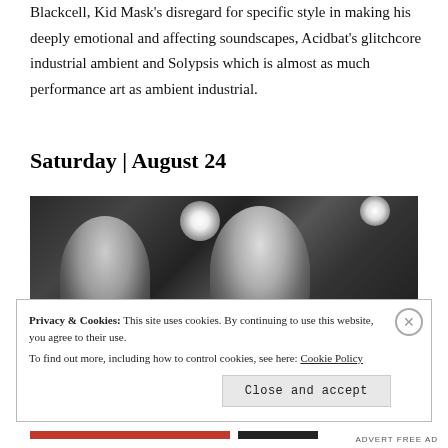Blackcell, Kid Mask's disregard for specific style in making his deeply emotional and affecting soundscapes, Acidbat's glitchcore industrial ambient and Solypsis which is almost as much performance art as ambient industrial.
Saturday | August 24
[Figure (photo): Black and white concert photo showing two performers on stage, a woman on the left and a man wearing a cap on the right singing into a microphone, with stage lights visible in the background.]
Privacy & Cookies: This site uses cookies. By continuing to use this website, you agree to their use. To find out more, including how to control cookies, see here: Cookie Policy
Close and accept